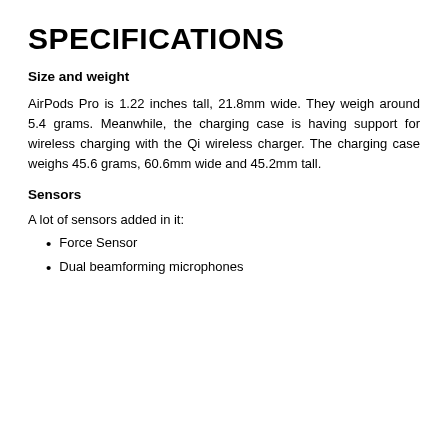SPECIFICATIONS
Size and weight
AirPods Pro is 1.22 inches tall, 21.8mm wide. They weigh around 5.4 grams. Meanwhile, the charging case is having support for wireless charging with the Qi wireless charger. The charging case weighs 45.6 grams, 60.6mm wide and 45.2mm tall.
Sensors
A lot of sensors added in it:
Force Sensor
Dual beamforming microphones